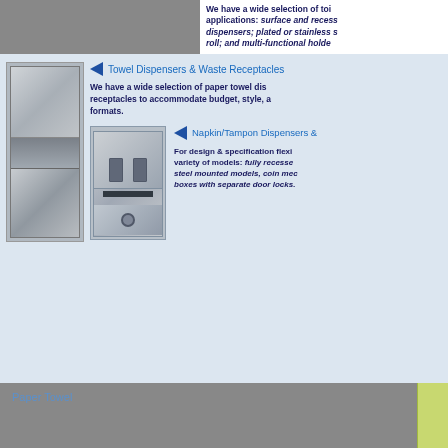[Figure (photo): Gray bar at top with white text panel on right showing product description about toilet accessories including surface and recessed dispensers, plated or stainless steel, roll, and multi-functional holders]
We have a wide selection of toilet room accessories for all types of applications: surface and recessed dispensers; plated or stainless steel dispensers; plated or stainless steel roll; and multi-functional holders
[Figure (photo): Stainless steel combination paper towel dispenser and waste receptacle unit]
Towel Dispensers & Waste Receptacles
We have a wide selection of paper towel dispensers and waste receptacles to accommodate budget, style, and paper formats.
[Figure (photo): Stainless steel napkin/tampon dispenser unit recessed model with coin mechanism]
Napkin/Tampon Dispensers &
For design & specification flexibility, we offer a variety of models: fully recessed, stainless steel mounted models, coin mechanism, and boxes with separate door locks.
Paper Towel